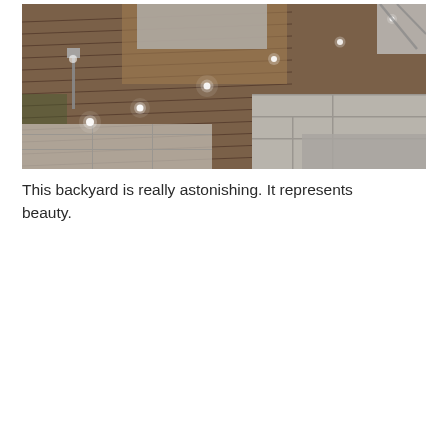[Figure (photo): A backyard deck at night featuring warm-toned wooden decking with small round recessed LED lights glowing white, interspersed with grey/light stone paving tiles. A low concrete bench/planter sits on the deck. A tall slender garden light stake is visible on the left. The scene is lit dramatically by the embedded deck lights.]
This backyard is really astonishing. It represents beauty.